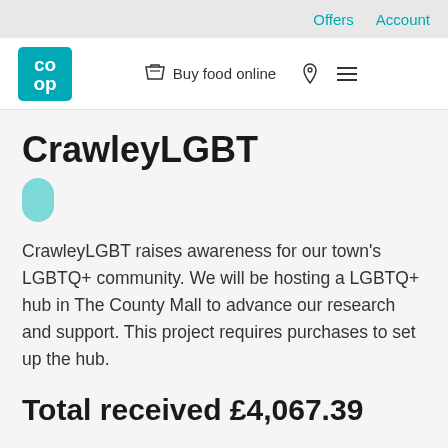Offers  Account
[Figure (logo): Co-op logo and navigation bar with basket icon, Buy food online text, pin icon, and hamburger menu icon]
CrawleyLGBT
CrawleyLGBT raises awareness for our town's LGBTQ+ community. We will be hosting a LGBTQ+ hub in The County Mall to advance our research and support. This project requires purchases to set up the hub.
Total received £4,067.39